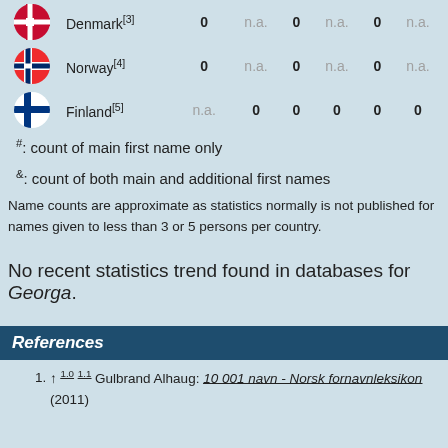| Flag | Country | Col1 | Col2 | Col3 | Col4 | Col5 | Col6 |
| --- | --- | --- | --- | --- | --- | --- | --- |
| [flag] | Denmark[3] | 0 | n.a. | 0 | n.a. | 0 | n.a. |
| [flag] | Norway[4] | 0 | n.a. | 0 | n.a. | 0 | n.a. |
| [flag] | Finland[5] | n.a. | 0 | 0 | 0 | 0 | 0 |
#: count of main first name only
&: count of both main and additional first names
Name counts are approximate as statistics normally is not published for names given to less than 3 or 5 persons per country.
No recent statistics trend found in databases for Georga.
References
↑ 1.0 1.1 Gulbrand Alhaug: 10 001 navn - Norsk fornavnleksikon (2011)